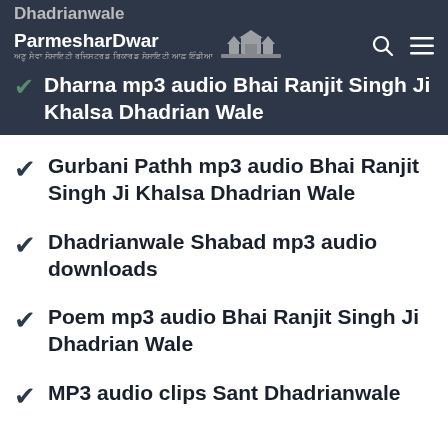Dhadrianwale
ParmesharDwar
✔  Dharna mp3 audio Bhai Ranjit Singh Ji Khalsa Dhadrian Wale
✔  Gurbani Pathh mp3 audio Bhai Ranjit Singh Ji Khalsa Dhadrian Wale
✔  Dhadrianwale Shabad mp3 audio downloads
✔  Poem mp3 audio Bhai Ranjit Singh Ji Dhadrian Wale
✔  MP3 audio clips Sant Dhadrianwale